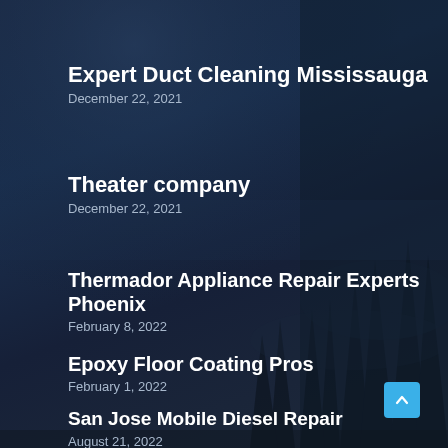Expert Duct Cleaning Mississauga
December 22, 2021
Theater company
December 22, 2021
Thermador Appliance Repair Experts Phoenix
February 8, 2022
Epoxy Floor Coating Pros
February 1, 2022
San Jose Mobile Diesel Repair
August 21, 2022